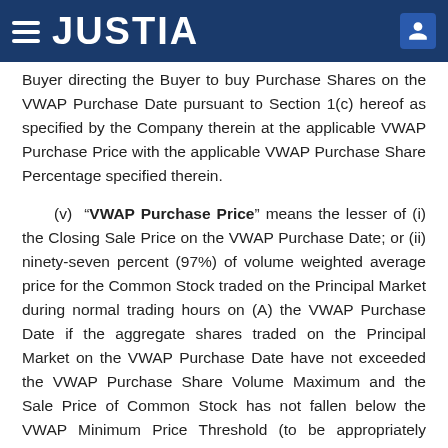JUSTIA
Buyer directing the Buyer to buy Purchase Shares on the VWAP Purchase Date pursuant to Section 1(c) hereof as specified by the Company therein at the applicable VWAP Purchase Price with the applicable VWAP Purchase Share Percentage specified therein.
(v) “VWAP Purchase Price” means the lesser of (i) the Closing Sale Price on the VWAP Purchase Date; or (ii) ninety-seven percent (97%) of volume weighted average price for the Common Stock traded on the Principal Market during normal trading hours on (A) the VWAP Purchase Date if the aggregate shares traded on the Principal Market on the VWAP Purchase Date have not exceeded the VWAP Purchase Share Volume Maximum and the Sale Price of Common Stock has not fallen below the VWAP Minimum Price Threshold (to be appropriately adjusted for any reorganization,